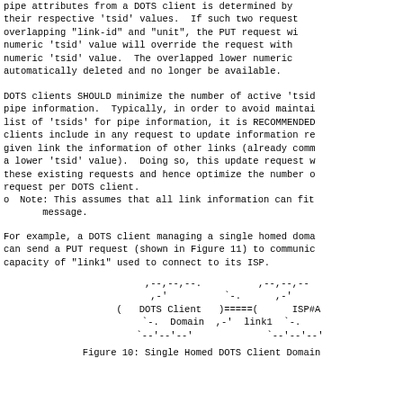pipe attributes from a DOTS client is determined by their respective 'tsid' values.  If such two request overlapping "link-id" and "unit", the PUT request wi numeric 'tsid' value will override the request with numeric 'tsid' value.  The overlapped lower numeric automatically deleted and no longer be available.
DOTS clients SHOULD minimize the number of active 'tsid pipe information.  Typically, in order to avoid maintai list of 'tsids' for pipe information, it is RECOMMENDED clients include in any request to update information re given link the information of other links (already comm a lower 'tsid' value).  Doing so, this update request w these existing requests and hence optimize the number o request per DOTS client.
Note: This assumes that all link information can fit message.
For example, a DOTS client managing a single homed doma can send a PUT request (shown in Figure 11) to communic capacity of "link1" used to connect to its ISP.
[Figure (illustration): ASCII art diagram showing DOTS Client Domain connected via link1 to ISP#A]
Figure 10: Single Homed DOTS Client Domain